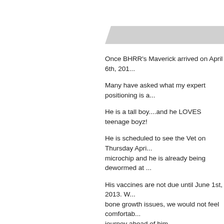[Figure (other): Gray ribbon/banner decorative element in upper right area of page]
Once BHRR's Maverick arrived on April 6th, 201...
Many have asked what my expert positioning is a...
He is a tall boy....and he LOVES teenage boyz!
He is scheduled to see the Vet on Thursday Apri... microchip and he is already being dewormed at ...
His vaccines are not due until June 1st, 2013. W... bone growth issues, we would not feel comfortab... journey ahead of him.
In going through his medical records sent with hi...
"Maverick, 9 month old castrated Great Dane, on... September 25th, 2012. Ut was first appreciated ... treatments or diangostics had yet been performi... angular deformity consistent with premature clos... were discussed."
"Radiographs indicate that Maverick has had a c... carpus(wrist), and then as the radius continues t... f...di.... Th...